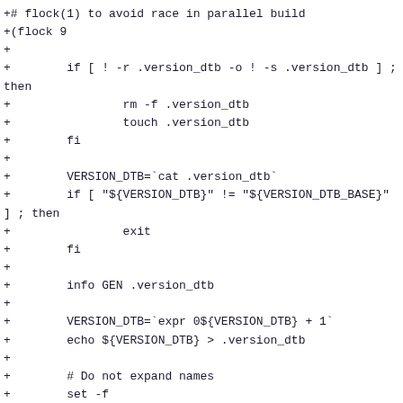+# flock(1) to avoid race in parallel build
+(flock 9
+
+        if [ ! -r .version_dtb -o ! -s .version_dtb ] ; then
+                rm -f .version_dtb
+                touch .version_dtb
+        fi
+
+        VERSION_DTB=`cat .version_dtb`
+        if [ "${VERSION_DTB}" != "${VERSION_DTB_BASE}" ] ; then
+                exit
+        fi
+
+        info GEN .version_dtb
+
+        VERSION_DTB=`expr 0${VERSION_DTB} + 1`
+        echo ${VERSION_DTB} > .version_dtb
+
+        # Do not expand names
+        set -f
+
+        # Fix the language to get consistent output
+        LC_ALL=C
+        export LC_ALL
+
+        if [ -z "$KBUILD_BUILD_TIMESTAMP" ]; then
+                TIMESTAMP=`date`
+        else